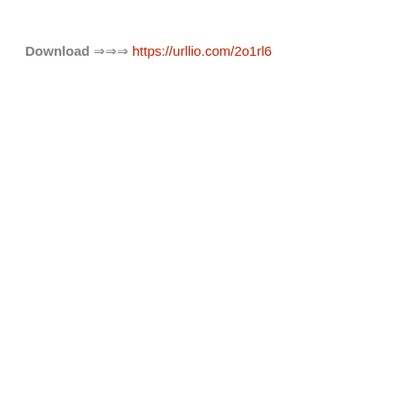Download ⇒⇒⇒ https://urllio.com/2o1rl6